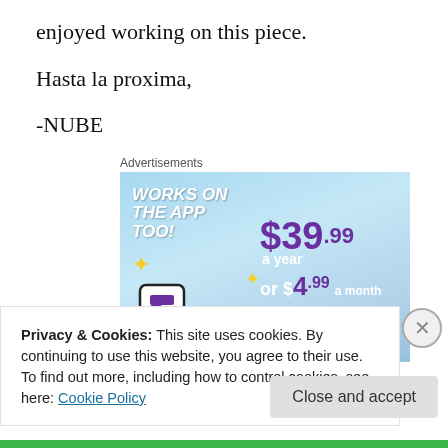enjoyed working on this piece.
Hasta la proxima,
-NUBE
[Figure (infographic): Advertisement banner for a subscription service showing '$39.99 a year or $4.99 a month + FREE SHIPPING' with 'WORKS ON THE APP TOO!' text and a Tumblr-style logo with sparkle stars on a light blue background.]
Privacy & Cookies: This site uses cookies. By continuing to use this website, you agree to their use.
To find out more, including how to control cookies, see here: Cookie Policy
Close and accept